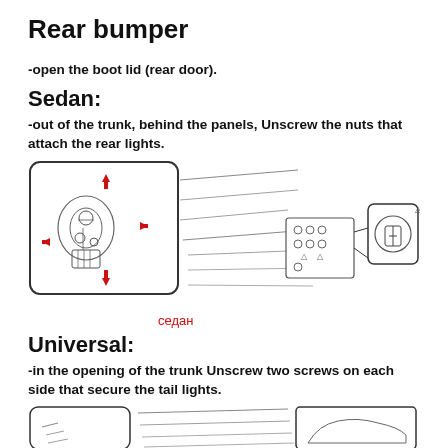Rear bumper
-open the boot lid (rear door).
Sedan:
-out of the trunk, behind the panels, Unscrew the nuts that attach the rear lights.
[Figure (engineering-diagram): Diagram showing rear light assembly removal for Sedan: left panel shows rear light unit with four red arrows indicating screw/nut positions; center shows the car body opening; right shows a close-up of a fastener. Cyrillic label 'седан' (sedan) in red below.]
седан
Universal:
-in the opening of the trunk Unscrew two screws on each side that secure the tail lights.
[Figure (engineering-diagram): Partial diagram showing Universal variant tail light removal, cut off at bottom of page.]